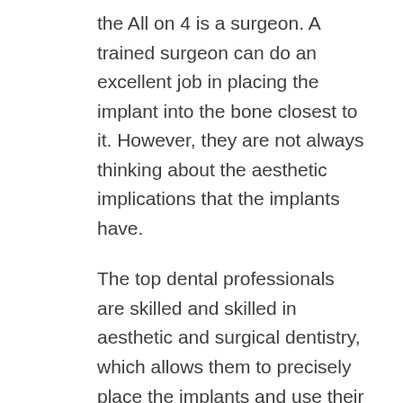the All on 4 is a surgeon. A trained surgeon can do an excellent job in placing the implant into the bone closest to it. However, they are not always thinking about the aesthetic implications that the implants have.
The top dental professionals are skilled and skilled in aesthetic and surgical dentistry, which allows them to precisely place the implants and use their expertise in cosmetic dentistry to create an attractive result for the patients.
The li...